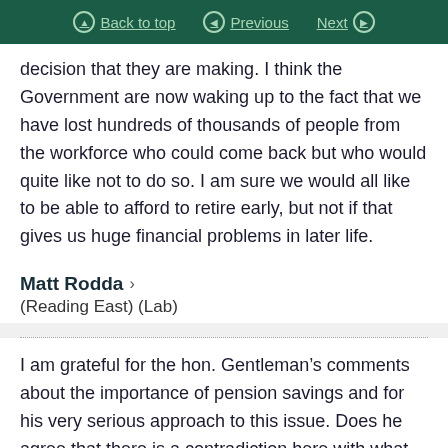Back to top | Previous | Next
decision that they are making. I think the Government are now waking up to the fact that we have lost hundreds of thousands of people from the workforce who could come back but who would quite like not to do so. I am sure we would all like to be able to afford to retire early, but not if that gives us huge financial problems in later life.
Matt Rodda ›
(Reading East) (Lab)
I am grateful for the hon. Gentleman's comments about the importance of pension savings and for his very serious approach to this issue. Does he agree that there is a contradiction here with what the